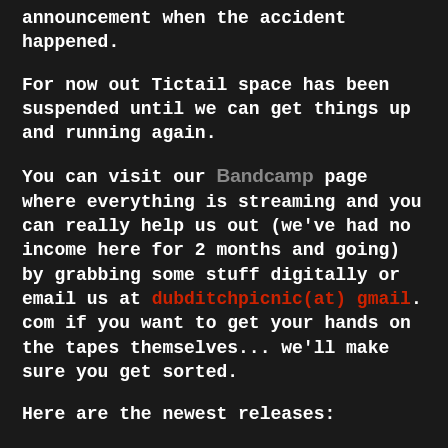announcement when the accident happened.
For now out Tictail space has been suspended until we can get things up and running again.
You can visit our Bandcamp page where everything is streaming and you can really help us out (we've had no income here for 2 months and going) by grabbing some stuff digitally or email us at dubditchpicnic(at) gmail. com if you want to get your hands on the tapes themselves... we'll make sure you get sorted.
Here are the newest releases: